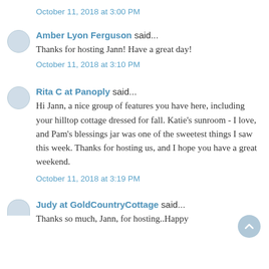October 11, 2018 at 3:00 PM
Amber Lyon Ferguson said...
Thanks for hosting Jann! Have a great day!
October 11, 2018 at 3:10 PM
Rita C at Panoply said...
Hi Jann, a nice group of features you have here, including your hilltop cottage dressed for fall. Katie's sunroom - I love, and Pam's blessings jar was one of the sweetest things I saw this week. Thanks for hosting us, and I hope you have a great weekend.
October 11, 2018 at 3:19 PM
Judy at GoldCountryCottage said...
Thanks so much, Jann, for hosting..Happy